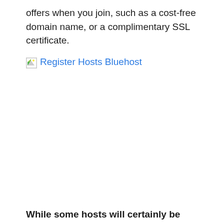offers when you join, such as a cost-free domain name, or a complimentary SSL certificate.
[Figure (other): Broken image placeholder with link text 'Register Hosts Bluehost']
While some hosts will certainly be able to provide better performance and high levels of protection.
Listed below we dive deep right into the most effective affordable web hosting plan there. You'll discover what core hosting functions are necessary in a host as well as how to analyze your own hosting demands to ensure that you can